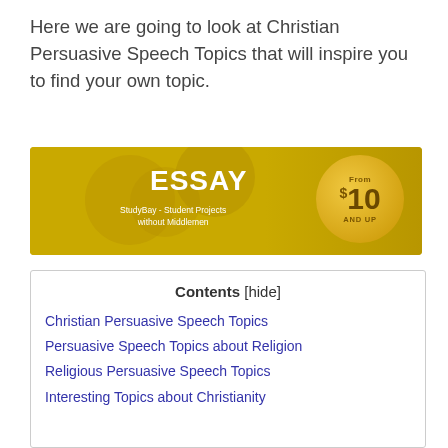Here we are going to look at Christian Persuasive Speech Topics that will inspire you to find your own topic.
[Figure (infographic): Yellow advertisement banner for StudyBay essay writing service. Shows 'ESSAY' in large white bold text, subtitle 'StudyBay - Student Projects without Middlemen', and a gold coin graphic showing 'From $10 AND UP'.]
| Contents [hide] |
| Christian Persuasive Speech Topics |
| Persuasive Speech Topics about Religion |
| Religious Persuasive Speech Topics |
| Interesting Topics about Christianity |